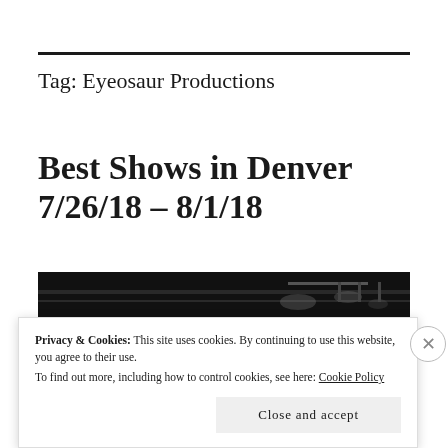Tag: Eyeosaur Productions
Best Shows in Denver 7/26/18 – 8/1/18
[Figure (photo): Black and white photo of a performer on stage, looking upward, with stage lighting equipment visible in the background.]
Privacy & Cookies: This site uses cookies. By continuing to use this website, you agree to their use.
To find out more, including how to control cookies, see here: Cookie Policy
Close and accept